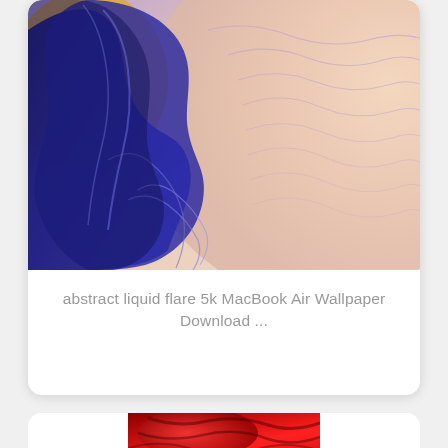[Figure (photo): Abstract liquid flare artwork with deep blue metallic fluid swirls on the left transitioning to soft peach/pink wavy lines on the right, MacBook Air 5K wallpaper]
abstract liquid flare 5k MacBook Air Wallpaper Download ...
[Figure (photo): Partial view of a second card showing a red/dark abstract liquid image, cropped at the bottom of the page]